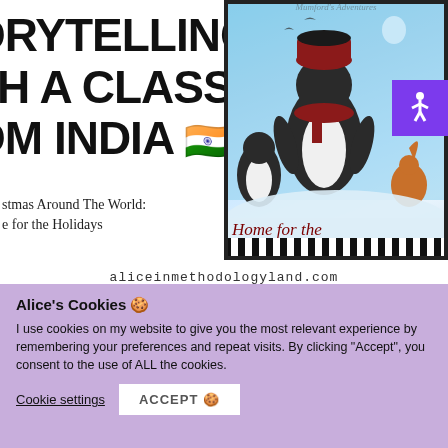STORYTELLING WITH A CLASS FROM INDIA 🇮🇳
Christmas Around The World: Home for the Holidays
[Figure (photo): Book cover: Mumford's Adventures - Home for the Holidays, featuring illustrated penguin characters in a winter/Christmas scene]
aliceinmethodologyland.com
Alice's Cookies 🍪
I use cookies on my website to give you the most relevant experience by remembering your preferences and repeat visits. By clicking "Accept", you consent to the use of ALL the cookies.
Cookie settings
ACCEPT 🍪